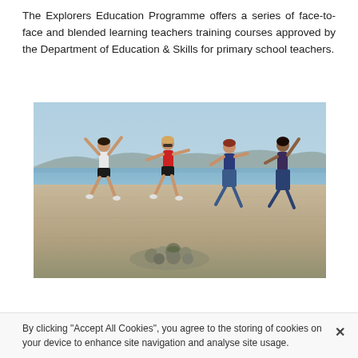The Explorers Education Programme offers a series of face-to-face and blended learning teachers training courses approved by the Department of Education & Skills for primary school teachers.
[Figure (photo): Four people jumping joyfully on a sandy beach with mountains and sea in the background, and a pile of rocks in the foreground.]
By clicking "Accept All Cookies", you agree to the storing of cookies on your device to enhance site navigation and analyse site usage.